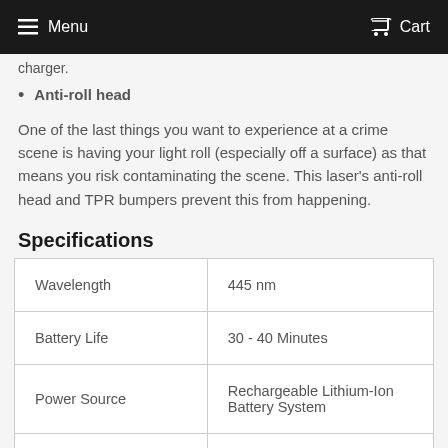Menu  Cart
charger.
Anti-roll head
One of the last things you want to experience at a crime scene is having your light roll (especially off a surface) as that means you risk contaminating the scene. This laser's anti-roll head and TPR bumpers prevent this from happening.
Specifications
|  |  |
| --- | --- |
| Wavelength | 445 nm |
| Battery Life | 30 - 40 Minutes |
| Power Source | Rechargeable Lithium-Ion Battery System |
|  |  |